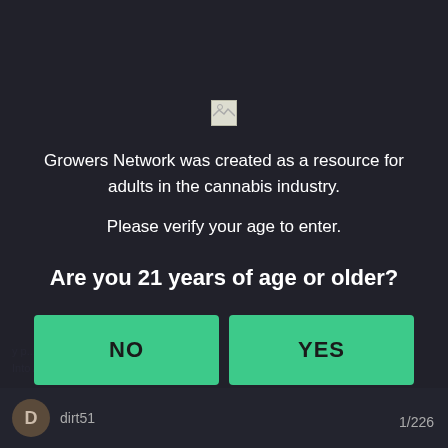[Figure (logo): Small broken image placeholder icon for Growers Network logo]
Growers Network was created as a resource for adults in the cannabis industry.
Please verify your age to enter.
Are you 21 years of age or older?
NO
YES
dirt51  1/226